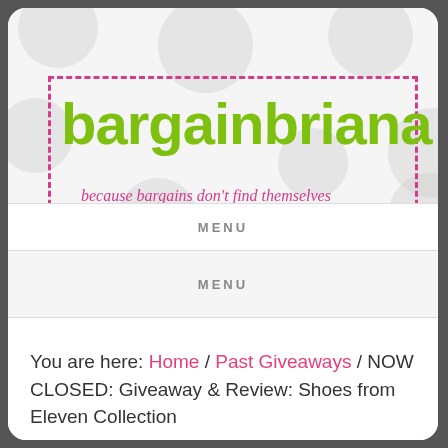[Figure (logo): bargainbriana logo with green bubbly text and pink tagline 'because bargains don't find themselves', surrounded by pink dashed border, on polka dot background]
MENU
MENU
You are here: Home / Past Giveaways / NOW CLOSED: Giveaway & Review: Shoes from Eleven Collection